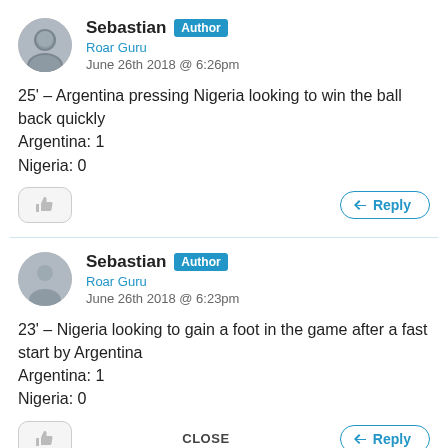Sebastian Author Roar Guru June 26th 2018 @ 6:26pm
25' – Argentina pressing Nigeria looking to win the ball back quickly
Argentina: 1
Nigeria: 0
Sebastian Author Roar Guru June 26th 2018 @ 6:23pm
23' – Nigeria looking to gain a foot in the game after a fast start by Argentina
Argentina: 1
Nigeria: 0